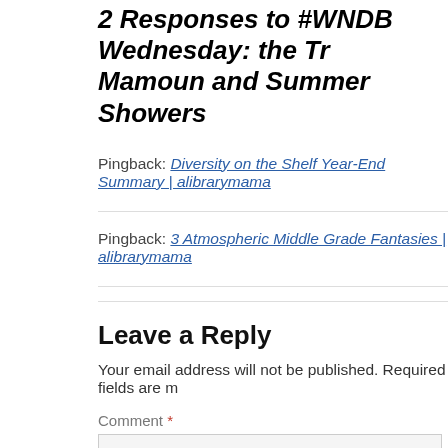2 Responses to #WNDB Wednesday: the Tr… Mamoun and Summer Showers
Pingback: Diversity on the Shelf Year-End Summary | alibrarymama
Pingback: 3 Atmospheric Middle Grade Fantasies | alibrarymama
Leave a Reply
Your email address will not be published. Required fields are m…
Comment *